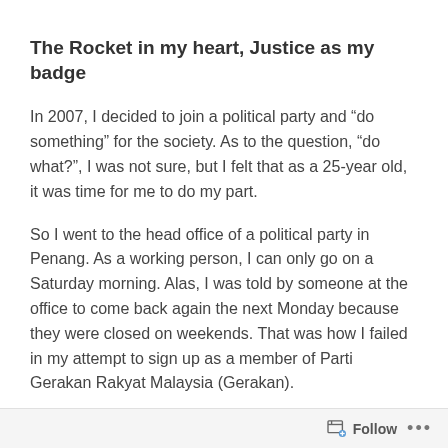The Rocket in my heart, Justice as my badge
In 2007, I decided to join a political party and “do something” for the society. As to the question, “do what?”, I was not sure, but I felt that as a 25-year old, it was time for me to do my part.
So I went to the head office of a political party in Penang. As a working person, I can only go on a Saturday morning. Alas, I was told by someone at the office to come back again the next Monday because they were closed on weekends. That was how I failed in my attempt to sign up as a member of Parti Gerakan Rakyat Malaysia (Gerakan).
Follow ...